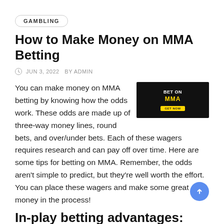GAMBLING
How to Make Money on MMA Betting
JUN 3, 2022   BY ADMIN
[Figure (photo): Advertisement banner with dark background showing 'BET ON MMA' text with a yellow 'GET NOW' button and a silhouette of an MMA fighter]
You can make money on MMA betting by knowing how the odds work. These odds are made up of three-way money lines, round bets, and over/under bets. Each of these wagers requires research and can pay off over time. Here are some tips for betting on MMA. Remember, the odds aren't simple to predict, but they're well worth the effort. You can place these wagers and make some great money in the process!
In-play betting advantages: